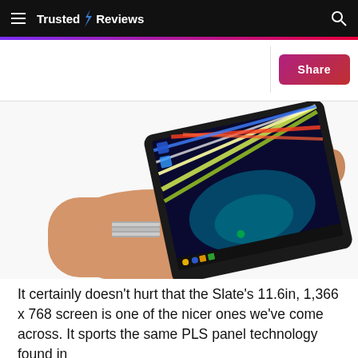Trusted Reviews
[Figure (photo): A hand holding a tablet device (slate) tilted at an angle, showing a colorful striped wallpaper on the screen with app icons at the bottom taskbar, against a white background.]
It certainly doesn't hurt that the Slate's 11.6in, 1,366 x 768 screen is one of the nicer ones we've come across. It sports the same PLS panel technology found in